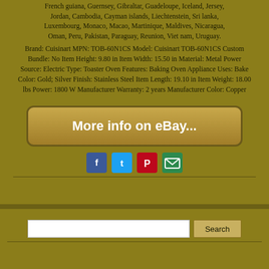French guiana, Guernsey, Gibraltar, Guadeloupe, Iceland, Jersey, Jordan, Cambodia, Cayman islands, Liechtenstein, Sri lanka, Luxembourg, Monaco, Macao, Martinique, Maldives, Nicaragua, Oman, Peru, Pakistan, Paraguay, Reunion, Viet nam, Uruguay.
Brand: Cuisinart MPN: TOB-60N1CS Model: Cuisinart TOB-60N1CS Custom Bundle: No Item Height: 9.80 in Item Width: 15.50 in Material: Metal Power Source: Electric Type: Toaster Oven Features: Baking Oven Appliance Uses: Bake Color: Gold; Silver Finish: Stainless Steel Item Length: 19.10 in Item Weight: 18.00 lbs Power: 1800 W Manufacturer Warranty: 2 years Manufacturer Color: Copper
[Figure (other): Button/link styled graphic reading 'More info on eBay...' in white cursive text on a gold/brown gradient rounded rectangle]
[Figure (infographic): Social media sharing icons: Facebook (blue), Twitter (light blue), Pinterest (red), Email (green)]
Search